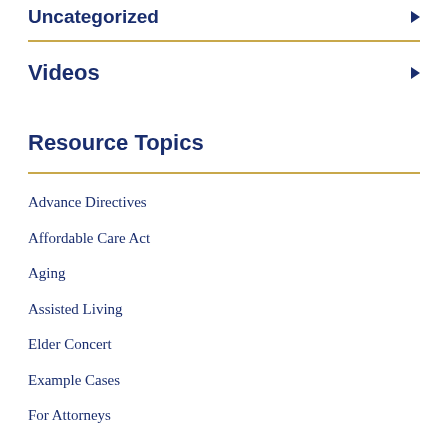Uncategorized
Videos
Resource Topics
Advance Directives
Affordable Care Act
Aging
Assisted Living
Elder Concert
Example Cases
For Attorneys